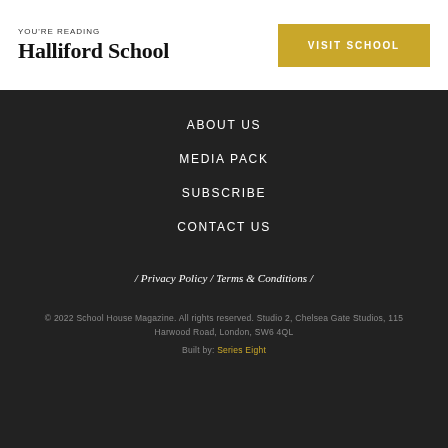YOU'RE READING
Halliford School
VISIT SCHOOL
ABOUT US
MEDIA PACK
SUBSCRIBE
CONTACT US
/ Privacy Policy / Terms & Conditions /
© 2022 School House Magazine. All rights reserved. Studio 2, Chelsea Gate Studios, 115 Harwood Road, London, SW6 4QL
Built by: Series Eight